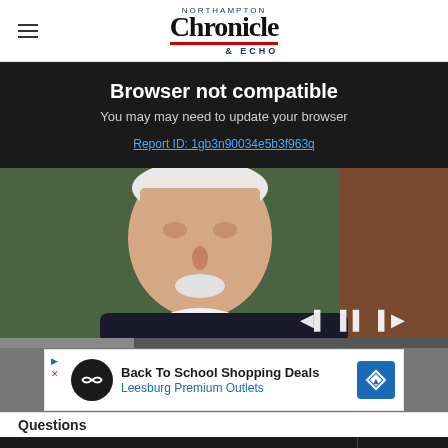Northampton Chronicle & Echo
Browser not compatible
You may need to update your browser
Report ID: 1gb3n90034e5b3f963q
[Figure (photo): Portrait painting of an elderly man with white hair and beard, wearing a dark coat with white cravat, against a dark green background.]
[Figure (infographic): Advertisement: Back To School Shopping Deals - Leesburg Premium Outlets]
Questions
Get 70% fewer ads. Start your 2-month trial for just £2 per month
Subscribe Today